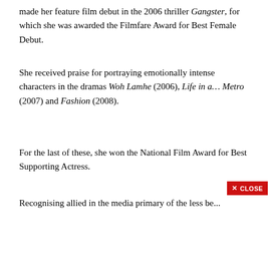made her feature film debut in the 2006 thriller Gangster, for which she was awarded the Filmfare Award for Best Female Debut.
She received praise for portraying emotionally intense characters in the dramas Woh Lamhe (2006), Life in a… Metro (2007) and Fashion (2008).
For the last of these, she won the National Film Award for Best Supporting Actress.
Recognising...